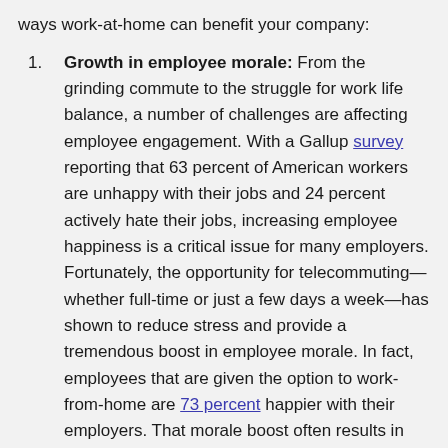ways work-at-home can benefit your company:
Growth in employee morale: From the grinding commute to the struggle for work life balance, a number of challenges are affecting employee engagement. With a Gallup survey reporting that 63 percent of American workers are unhappy with their jobs and 24 percent actively hate their jobs, increasing employee happiness is a critical issue for many employers. Fortunately, the opportunity for telecommuting—whether full-time or just a few days a week—has shown to reduce stress and provide a tremendous boost in employee morale. In fact, employees that are given the option to work-from-home are 73 percent happier with their employers. That morale boost often results in employees becoming more invested in the companies they work for!
Improved recruitment capabilities: Flexible work options top the list of requirements for many job